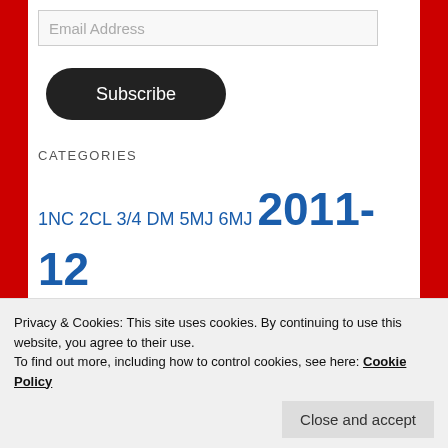Email Address
Subscribe
CATEGORIES
1NC 2CL 3/4 DM 5MJ 6MJ 2011-12 2012-13 2014-15 2015-16 2016-17 2017-18 2018-19 2019-20 2020-21 2021-22 Animation Arts
Privacy & Cookies: This site uses cookies. By continuing to use this website, you agree to their use.
To find out more, including how to control cookies, see here: Cookie Policy
Close and accept